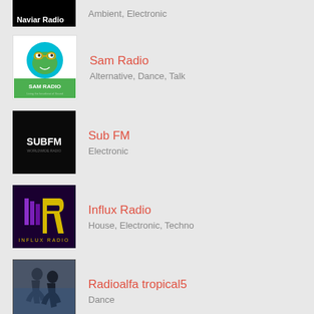[Figure (logo): Naviar Radio logo - black background with white text]
Ambient, Electronic
[Figure (logo): Sam Radio logo - cartoon frog on cyan background with green text]
Sam Radio
Alternative, Dance, Talk
[Figure (logo): Sub FM logo - dark background with SUBFM text]
Sub FM
Electronic
[Figure (logo): Influx Radio logo - dark purple background with neon yellow IR monogram]
Influx Radio
House, Electronic, Techno
[Figure (photo): Radioalfa tropical5 - dancers photo]
Radioalfa tropical5
Dance
Submit Station
Register